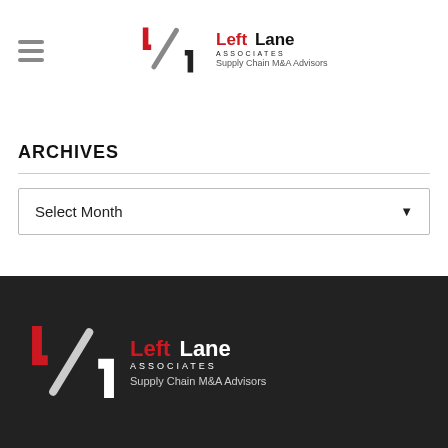[Figure (logo): Left Lane Associates logo - header version with red and black text, Supply Chain M&A Advisors tagline]
ARCHIVES
Select Month
[Figure (logo): Left Lane Associates logo - footer version with red and white text on dark background, Supply Chain M&A Advisors tagline]